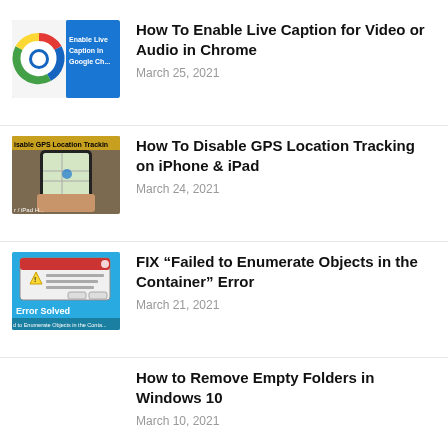[Figure (screenshot): Chrome browser icon alongside a blue card reading 'Enable Live Caption in Google Ch...']
How To Enable Live Caption for Video or Audio in Chrome
March 25, 2021
[Figure (screenshot): iPhone screen showing GPS/Map location with text 'isable GPS Location Trackin' and 'r / iPad H...']
How To Disable GPS Location Tracking on iPhone & iPad
March 24, 2021
[Figure (screenshot): Error dialog screenshot with 'Error Solved' banner, text 'Failed to Enumerate Objects in the Container']
FIX “Failed to Enumerate Objects in the Container” Error
March 21, 2021
How to Remove Empty Folders in Windows 10
March 10, 2021